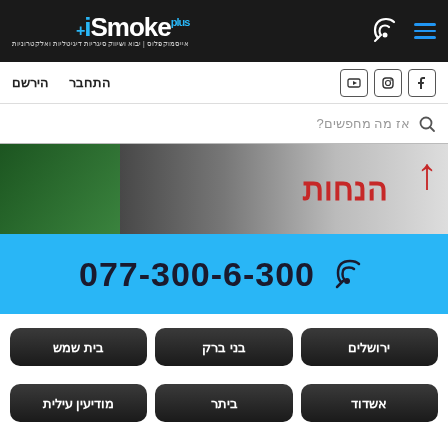iSmoke Plus - אייסמוק פלוס | יבוא ושיווק סיגריות דיגיטליות ואלקטרוניות
התחבר  הירשם
אז מה מחפשים?
[Figure (photo): Banner image with Hebrew text and red graphic elements on dark background]
077-300-6-300
ירושלים  בני ברק  בית שמש
אשדוד  ביתר  מודיעין עילית